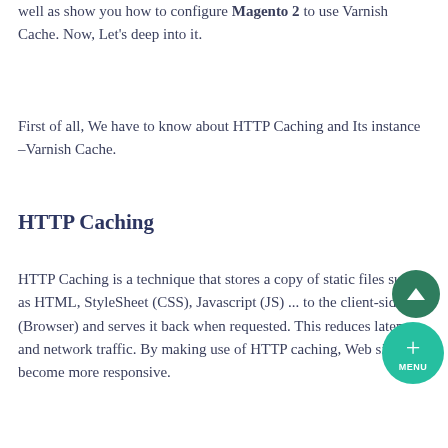well as show you how to configure Magento 2 to use Varnish Cache. Now, Let's deep into it.
First of all, We have to know about HTTP Caching and Its instance –Varnish Cache.
HTTP Caching
HTTP Caching is a technique that stores a copy of static files such as HTML, StyleSheet (CSS), Javascript (JS) ... to the client-side (Browser) and serves it back when requested. This reduces latency and network traffic. By making use of HTTP caching, Web sites become more responsive.